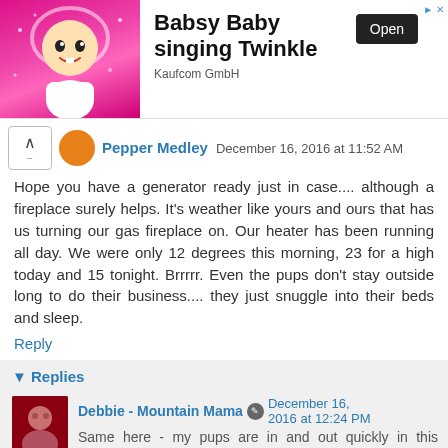[Figure (screenshot): Advertisement banner for 'Babsy Baby singing Twinkle' app by Kaufcom GmbH, showing animated baby character on pink background with an Open button]
Pepper Medley  December 16, 2016 at 11:52 AM

Hope you have a generator ready just in case.... although a fireplace surely helps. It's weather like yours and ours that has us turning our gas fireplace on. Our heater has been running all day. We were only 12 degrees this morning, 23 for a high today and 15 tonight. Brrrrr. Even the pups don't stay outside long to do their business.... they just snuggle into their beds and sleep.
Reply
Replies
Debbie - Mountain Mama  December 16, 2016 at 12:24 PM

Same here - my pups are in and out quickly in this weather!! And yes, I do have a generator, which is such a comfort to me when we have